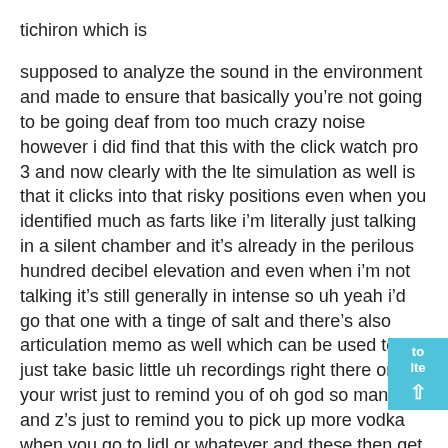tichiron which is
supposed to analyze the sound in the environment and made to ensure that basically you’re not going to be going deaf from too much crazy noise however i did find that this with the click watch pro 3 and now clearly with the lte simulation as well is that it clicks into that risky positions even when you identified much as farts like i’m literally just talking in a silent chamber and it’s already in the perilous hundred decibel elevation and even when i’m not talking it’s still generally in intense so uh yeah i’d go that one with a tinge of salt and there’s also articulation memo as well which can be used to uh just take basic little uh recordings right there on your wrist just to remind you of oh god so many t’s and z’s just to remind you to pick up more vodka when you go to lidl or whatever and these then get auto uploaded to your smartphone and uh by default they are then automatically cleared from the the watch itself simply to clarify matters some seat and the ticking watch pro 3 lte like the original tic watch pro 2 also supports google w